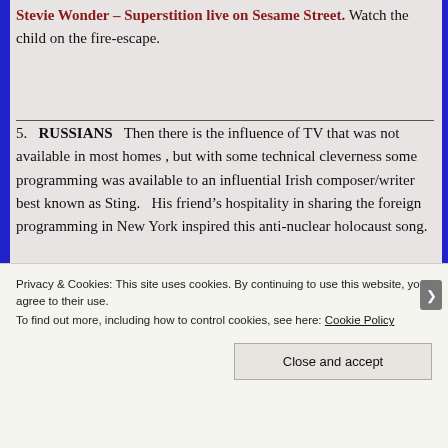Stevie Wonder – Superstition live on Sesame Street.   Watch the child on the fire-escape.
5.   RUSSIANS   Then there is the influence of TV that was not available in most homes , but with some technical cleverness some programming was available to an influential Irish composer/writer best known as Sting.   His friend's hospitality in sharing the foreign programming in New York inspired this anti-nuclear holocaust song.
[Figure (photo): Video thumbnail with dark/black background and partial circular white/grey shape visible]
Privacy & Cookies: This site uses cookies. By continuing to use this website, you agree to their use.
To find out more, including how to control cookies, see here: Cookie Policy
Close and accept